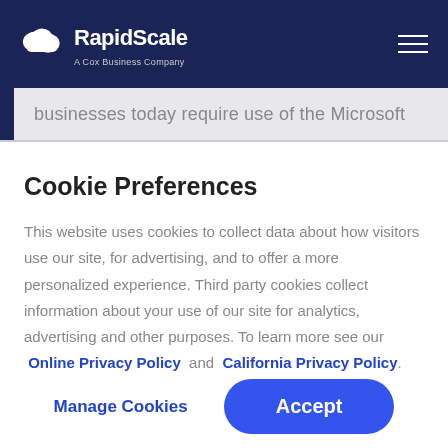RapidScale — A Cox Business Company
businesses today require use of the Microsoft
Cookie Preferences
This website uses cookies to collect data about how visitors use our site, for advertising, and to offer a more personalized experience. Third party cookies collect information about your use of our site for analytics, advertising and other purposes. To learn more see our Online Privacy Policy and California Privacy Policy.
Manage Cookies
Accept